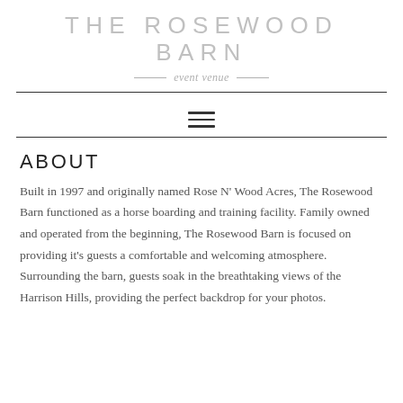THE ROSEWOOD BARN
event venue
[Figure (other): Hamburger menu icon (three horizontal lines)]
ABOUT
Built in 1997 and originally named Rose N' Wood Acres, The Rosewood Barn functioned as a horse boarding and training facility. Family owned and operated from the beginning, The Rosewood Barn is focused on providing it's guests a comfortable and welcoming atmosphere.  Surrounding the barn, guests soak in the breathtaking views of the Harrison Hills, providing the perfect backdrop for your photos.